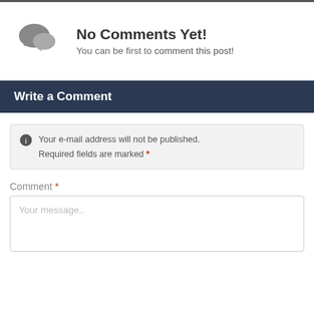No Comments Yet!
You can be first to comment this post!
Write a Comment
Your e-mail address will not be published. Required fields are marked *
Comment *
Your message..